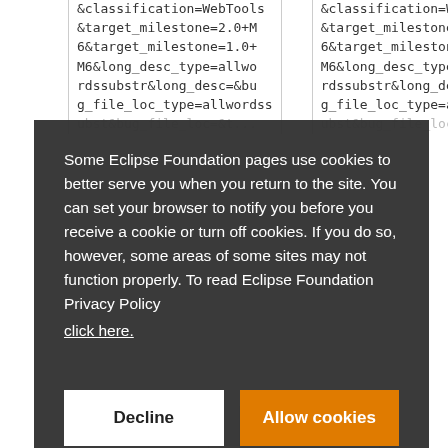&classification=WebTools&target_milestone=2.0+M6&target_milestone=1.0+M6&long_desc_type=allwordssubstr&long_desc=&bug_file_loc_type=allwordss ubst&bug_file_loc=&t...
Some Eclipse Foundation pages use cookies to better serve you when you return to the site. You can set your browser to notify you before you receive a cookie or turn off cookies. If you do so, however, some areas of some sites may not function properly. To read Eclipse Foundation Privacy Policy click here.
Decline
Allow cookies
wrap&field0-0-...